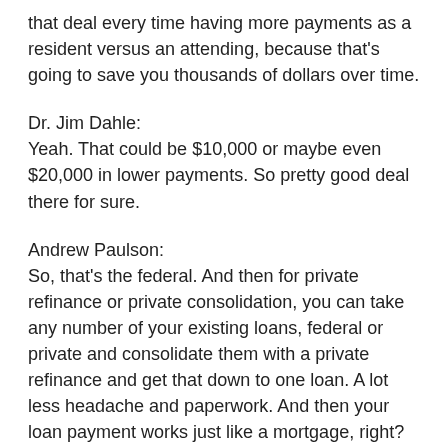that deal every time having more payments as a resident versus an attending, because that's going to save you thousands of dollars over time.
Dr. Jim Dahle:
Yeah. That could be $10,000 or maybe even $20,000 in lower payments. So pretty good deal there for sure.
Andrew Paulson:
So, that's the federal. And then for private refinance or private consolidation, you can take any number of your existing loans, federal or private and consolidate them with a private refinance and get that down to one loan. A lot less headache and paperwork. And then your loan payment works just like a mortgage, right? You have some high required payment. You can make that or above that and you just pay that down as soon as